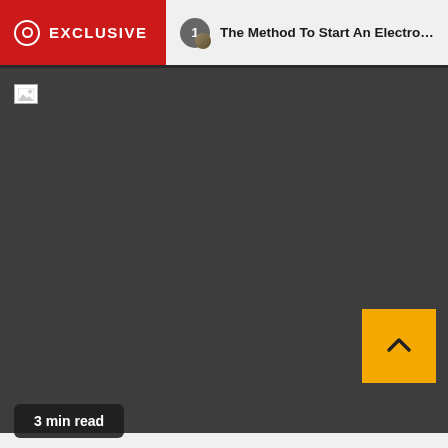EXCLUSIVE   1   The Method To Start An Electronics Retai
[Figure (screenshot): Dark grey content area with a broken image icon in the top-left corner, a gold/yellow back-to-top arrow button in the bottom-right, and a '3 min read' badge in the bottom-left.]
3 min read